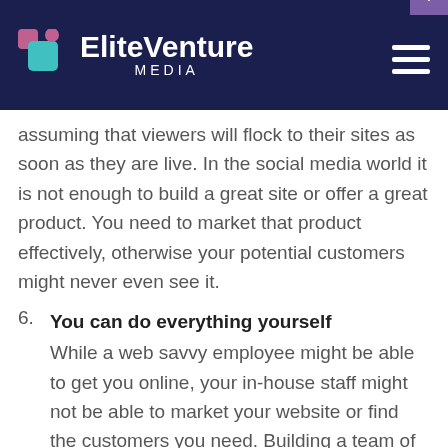EliteVenture MEDIA
assuming that viewers will flock to their sites as soon as they are live. In the social media world it is not enough to build a great site or offer a great product. You need to market that product effectively, otherwise your potential customers might never even see it.
6. You can do everything yourself
While a web savvy employee might be able to get you online, your in-house staff might not be able to market your website or find the customers you need. Building a team of both in-house and external resources will help you make the most of your social media strategy.
7. You must establish a social media presence now
While it is certainly a good idea to bring your